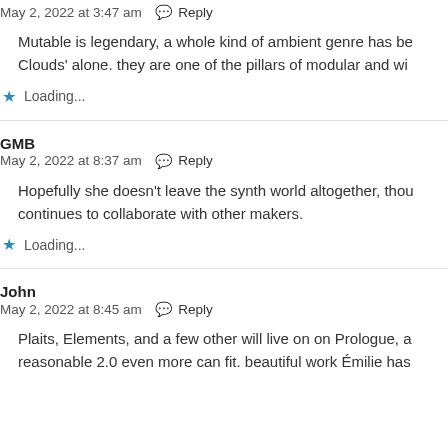May 2, 2022 at 3:47 am  Reply
Mutable is legendary, a whole kind of ambient genre has be Clouds' alone. they are one of the pillars of modular and wi
Loading...
GMB
May 2, 2022 at 8:37 am  Reply
Hopefully she doesn't leave the synth world altogether, thou continues to collaborate with other makers.
Loading...
John
May 2, 2022 at 8:45 am  Reply
Plaits, Elements, and a few other will live on on Prologue, a reasonable 2.0 even more can fit. beautiful work Émilie has